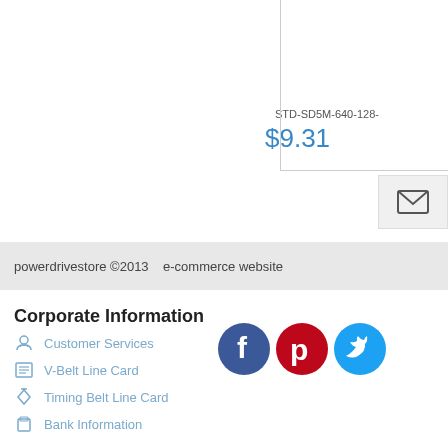STD-SD5M-640-128-
$9.31
[Figure (other): Email/envelope icon button]
powerdrivestore ©2013    e-commerce website
Corporate Information
Customer Services
V-Belt Line Card
Timing Belt Line Card
Bank Information
Payment Options
Site Map
[Figure (other): Social media icons: Facebook, Pinterest, Twitter]